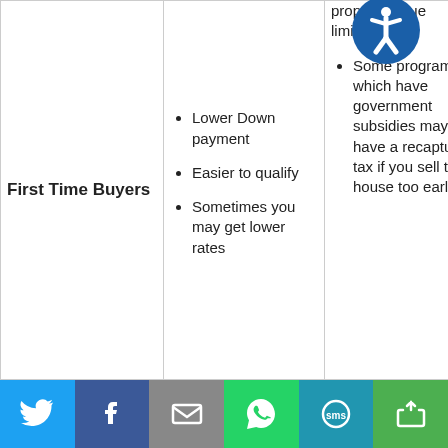|  | Benefits | Considerations |
| --- | --- | --- |
| First Time Buyers | Lower Down payment
Easier to qualify
Sometimes you may get lower rates | property value limitations
Some programs which have government subsidies may have a recapture tax if you sell the house too early |
Twitter | Facebook | Email | WhatsApp | SMS | Share